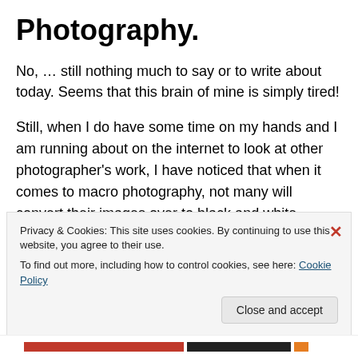Photography.
No, … still nothing much to say or to write about today. Seems that this brain of mine is simply tired!
Still, when I do have some time on my hands and I am running about on the internet to look at other photographer's work, I have noticed that when it comes to macro photography, not many will convert their images over to black and white, … just to see if something becomes different, … something new for them to work
Privacy & Cookies: This site uses cookies. By continuing to use this website, you agree to their use.
To find out more, including how to control cookies, see here: Cookie Policy
Close and accept